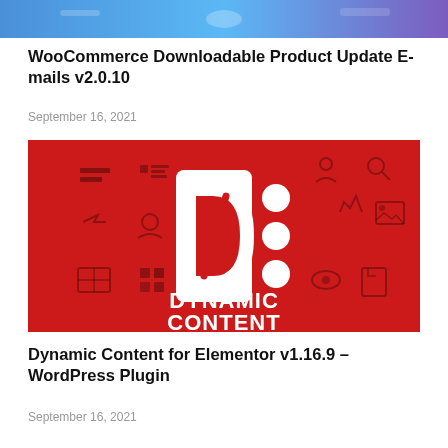[Figure (screenshot): Top portion of a colorful banner image, partially cropped, showing a blue/purple gradient with decorative elements]
WooCommerce Downloadable Product Update E-mails v2.0.10
September 16, 2021
[Figure (screenshot): Red background promotional image for Dynamic Content for Elementor plugin, showing a large white 'D:' logo in the center with various UI icons scattered around, and the text 'DYNAMIC CONTENT' in white at the bottom]
Dynamic Content for Elementor v1.16.9 – WordPress Plugin
September 16, 2021